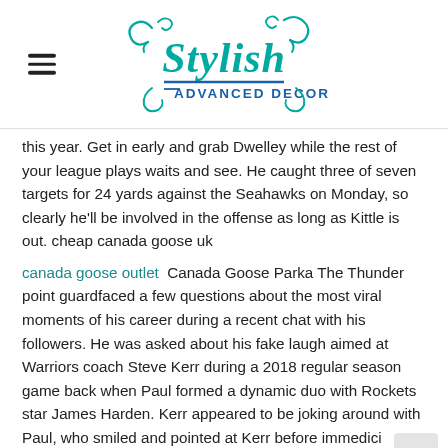Stylish Advanced Decor
this year. Get in early and grab Dwelley while the rest of your league plays waits and see. He caught three of seven targets for 24 yards against the Seahawks on Monday, so clearly he'll be involved in the offense as long as Kittle is out. cheap canada goose uk
canada goose outlet  Canada Goose Parka The Thunder point guardfaced a few questions about the most viral moments of his career during a recent chat with his followers. He was asked about his fake laugh aimed at Warriors coach Steve Kerr during a 2018 regular season game back when Paul formed a dynamic duo with Rockets star James Harden. Kerr appeared to be joking around with Paul, who smiled and pointed at Kerr before immediately turning into a stone wall.. Canada Goose Parka
canada goose uk shop  Also, when you are talking about